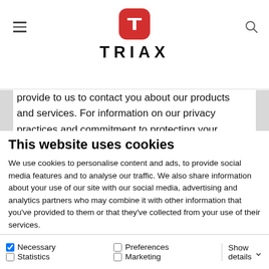[Figure (logo): TRIAX logo: red rounded square with white T letter above the text TRIAX in bold black capitals]
provide to us to contact you about our products and services. For information on our privacy practices and commitment to protecting your privacy, please review our Privacy Policy.
This website uses cookies
We use cookies to personalise content and ads, to provide social media features and to analyse our traffic. We also share information about your use of our site with our social media, advertising and analytics partners who may combine it with other information that you've provided to them or that they've collected from your use of their services.
Allow all cookies
Allow selection
Use necessary cookies only
Necessary  Preferences  Statistics  Marketing  Show details